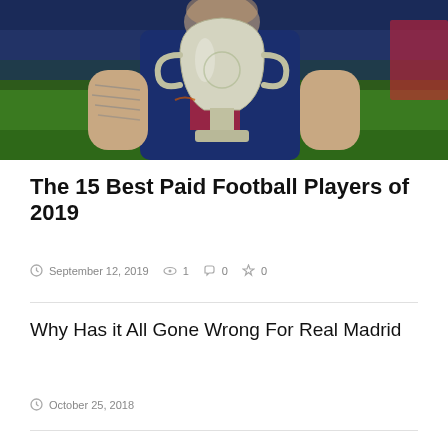[Figure (photo): A football player in a blue and red jersey holding a large silver trophy (Champions League style), with tattoos visible on arms. Green bokeh background.]
The 15 Best Paid Football Players of 2019
September 12, 2019   1   0   0
Why Has it All Gone Wrong For Real Madrid
October 25, 2018